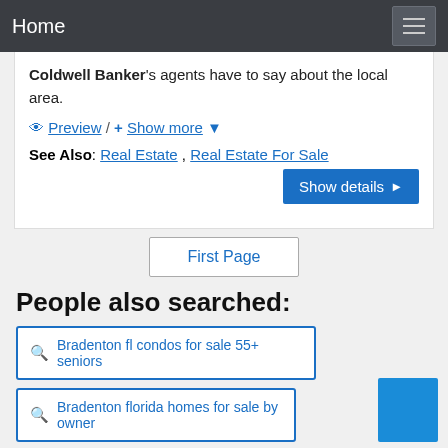Home
Coldwell Banker's agents have to say about the local area.
Preview / + Show more
See Also: Real Estate , Real Estate For Sale
Show details
First Page
People also searched:
Bradenton fl condos for sale 55+ seniors
Bradenton florida homes for sale by owner
Homes for sale in bradenton fl 34209